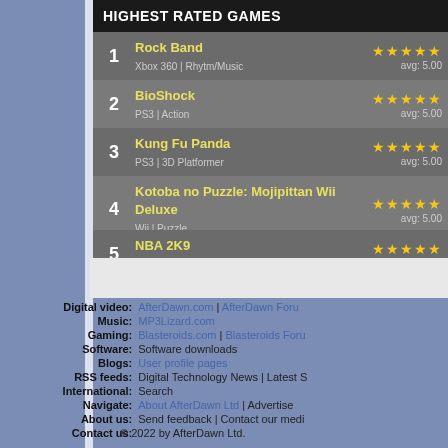HIGHEST RATED GAMES
1 Rock Band | Xbox 360 | Rhytm/Music | avg: 5.00
2 BioShock | PS3 | Action | avg: 5.00
3 Kung Fu Panda | PS3 | 3D Platformer | avg: 5.00
4 Kotoba no Puzzle: Mojipittan Wii Deluxe | Wii | Puzzle | avg: 5.00
5 NBA 2K9 | Xbox 360 | Sports | avg: 5.00
Digital video: AfterDawn.com | AfterDawn Foru...
Music: MP3Lizard.com
Gaming: Blasteroids.com | Blasteroids Foru...
Software: Software downloads
Blogs: User profile pages
RSS feeds: Digital Technology News | Latest S...
International: Search
Navigate: About AfterDawn Ltd | Advertise ...
About us: Send feedback | Contact our med...
Contact us:
© 2022 by AfterDawn Ltd.